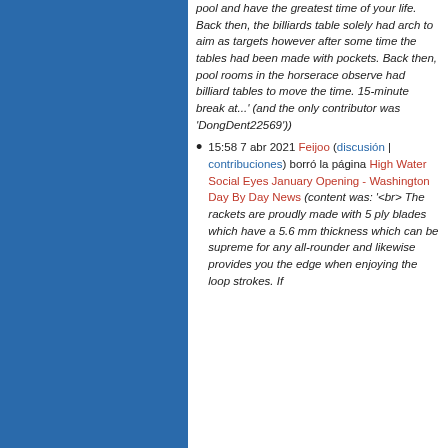pool and have the greatest time of your life. Back then, the billiards table solely had arch to aim as targets however after some time the tables had been made with pockets. Back then, pool rooms in the horserace observe had billiard tables to move the time. 15-minute break at...' (and the only contributor was 'DongDent22569'))
15:58 7 abr 2021 Feijoo (discusión | contribuciones) borró la página High Water Social Eyes January Opening - Washington Day By Day News (content was: '<br> The rackets are proudly made with 5 ply blades which have a 5.6 mm thickness which can be supreme for any all-rounder and likewise provides you the edge when enjoying the loop strokes. If